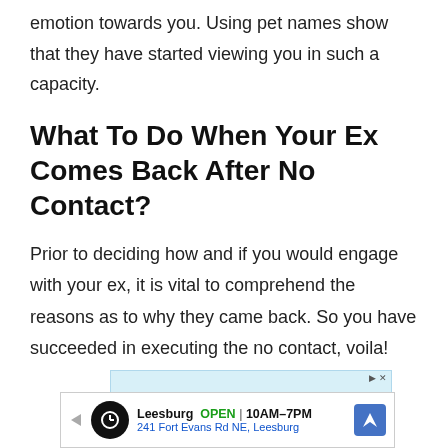emotion towards you. Using pet names show that they have started viewing you in such a capacity.
What To Do When Your Ex Comes Back After No Contact?
Prior to deciding how and if you would engage with your ex, it is vital to comprehend the reasons as to why they came back. So you have succeeded in executing the no contact, voila!
[Figure (other): Walgreens advertisement banner with red cursive logo and light blue background]
[Figure (other): Leesburg Walgreens local ad showing store location open 10AM-7PM at 241 Fort Evans Rd NE, Leesburg]